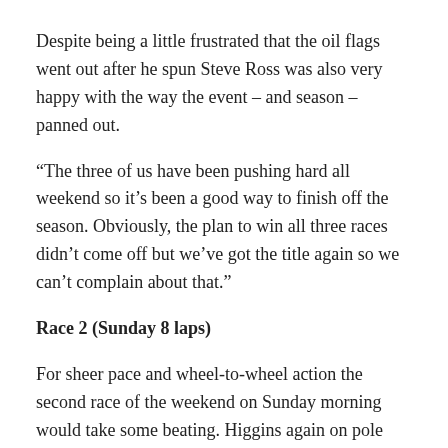Despite being a little frustrated that the oil flags went out after he spun Steve Ross was also very happy with the way the event – and season – panned out.
“The three of us have been pushing hard all weekend so it’s been a good way to finish off the season. Obviously, the plan to win all three races didn’t come off but we’ve got the title again so we can’t complain about that.”
Race 2 (Sunday 8 laps)
For sheer pace and wheel-to-wheel action the second race of the weekend on Sunday morning would take some beating. Higgins again on pole with Ross beside him and Clark Proctor on P3.
Ross got the jump on Higgins off the rolling start with Proctor tucking in behind. Higgins and Proctor then